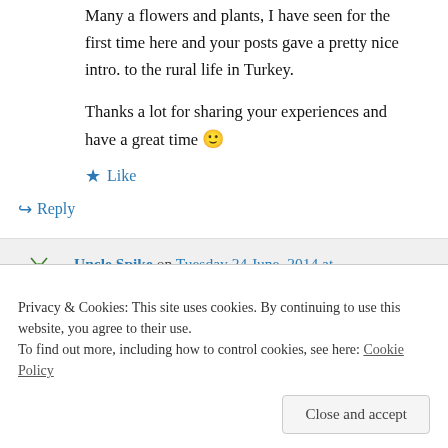Many a flowers and plants, I have seen for the first time here and your posts gave a pretty nice intro. to the rural life in Turkey.
Thanks a lot for sharing your experiences and have a great time 🙂
★ Like
↪ Reply
Uncle Spike on Tuesday 24 June, 2014 at
Privacy & Cookies: This site uses cookies. By continuing to use this website, you agree to their use.
To find out more, including how to control cookies, see here: Cookie Policy
Close and accept